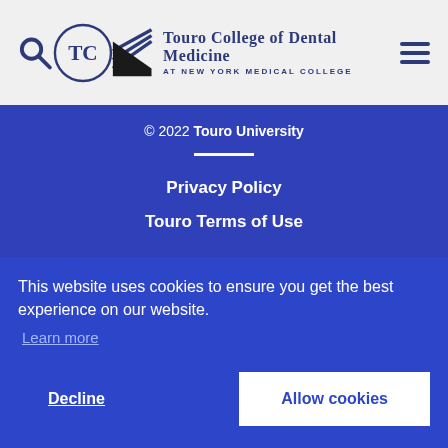[Figure (logo): Touro College of Dental Medicine at New York Medical College logo with search icon and hamburger menu]
© 2022 Touro University
Privacy Policy
Touro Terms of Use
This website uses cookies to ensure you get the best experience on our website.
Learn more
Decline
Allow cookies